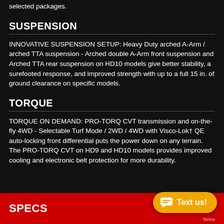selected packages.
SUSPENSION
INNOVATIVE SUSPENSION SETUP: Heavy Duty arched A-Arm / arched TTA suspension - Arched double A-Arm front suspension and Arched TTA rear suspension on HD10 models give better stability, a surefooted response, and improved strength with up to a full 15 in. of ground clearance on specific models.
TORQUE
TORQUE ON DEMAND: PRO-TORQ CVT transmission and on-the-fly 4WD - Selectable Turf Mode / 2WD / 4WD with Visco-Lok† QE auto-locking front differential puts the power down on any terrain. The PRO-TORQ CVT on HD9 and HD10 models provides improved cooling and electronic belt protection for more durability.
SPECS